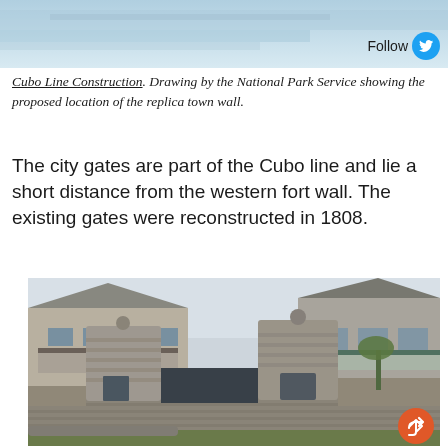[Figure (photo): Partial top image showing a blue-tinted banner or drawing with a Follow button and Twitter bird icon in the bottom right corner.]
Cubo Line Construction. Drawing by the National Park Service showing the proposed location of the replica town wall.
The city gates are part of the Cubo line and lie a short distance from the western fort wall. The existing gates were reconstructed in 1808.
[Figure (photo): Photograph of the historic city gates of St. Augustine, showing two stone cylindrical towers with conical tops flanking a passage, with colonial buildings visible behind the wall, green lawn in the foreground, and a share button in the bottom right.]